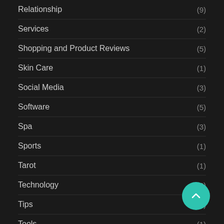Relationship (9)
Services (2)
Shopping and Product Reviews (5)
Skin Care (1)
Social Media (3)
Software (5)
Spa (3)
Sports (1)
Tarot (1)
Technology (2)
Tips (4)
Tools (1)
[Figure (illustration): Teal circular floating action button with an upward-pointing chevron arrow]